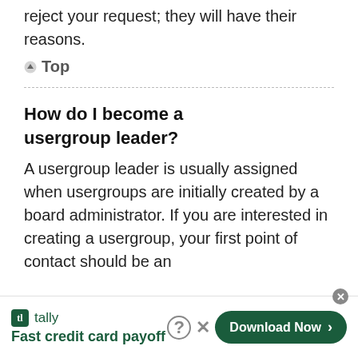reject your request; they will have their reasons.
⬆ Top
How do I become a usergroup leader?
A usergroup leader is usually assigned when usergroups are initially created by a board administrator. If you are interested in creating a usergroup, your first point of contact should be an administrator; try to di...
[Figure (other): Tally advertisement banner: 'Fast credit card payoff' with Download Now button]